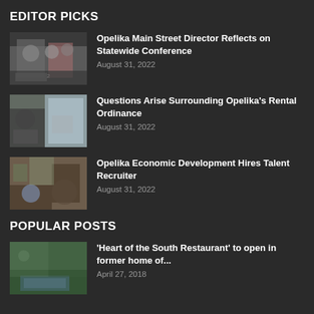EDITOR PICKS
Opelika Main Street Director Reflects on Statewide Conference — August 31, 2022
Questions Arise Surrounding Opelika's Rental Ordinance — August 31, 2022
Opelika Economic Development Hires Talent Recruiter — August 31, 2022
POPULAR POSTS
'Heart of the South Restaurant' to open in former home of... — April 27, 2018